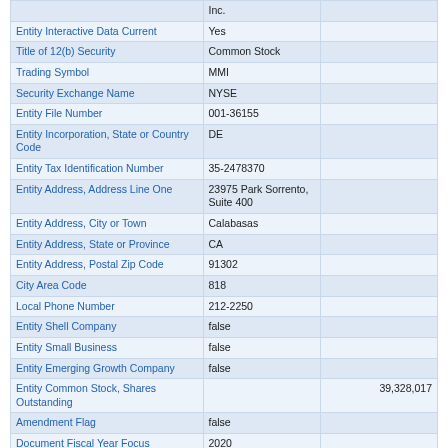| Field | Value | Extra |
| --- | --- | --- |
|  | Inc. |  |
| Entity Interactive Data Current | Yes |  |
| Title of 12(b) Security | Common Stock |  |
| Trading Symbol | MMI |  |
| Security Exchange Name | NYSE |  |
| Entity File Number | 001-36155 |  |
| Entity Incorporation, State or Country Code | DE |  |
| Entity Tax Identification Number | 35-2478370 |  |
| Entity Address, Address Line One | 23975 Park Sorrento, Suite 400 |  |
| Entity Address, City or Town | Calabasas |  |
| Entity Address, State or Province | CA |  |
| Entity Address, Postal Zip Code | 91302 |  |
| City Area Code | 818 |  |
| Local Phone Number | 212-2250 |  |
| Entity Shell Company | false |  |
| Entity Small Business | false |  |
| Entity Emerging Growth Company | false |  |
| Entity Common Stock, Shares Outstanding |  | 39,328,017 |
| Amendment Flag | false |  |
| Document Fiscal Year Focus | 2020 |  |
| Document Fiscal Period Focus | Q2 |  |
| Entity Central Index Key | 0001578732 |  |
| Current Fiscal Year End Date | --12-31 |  |